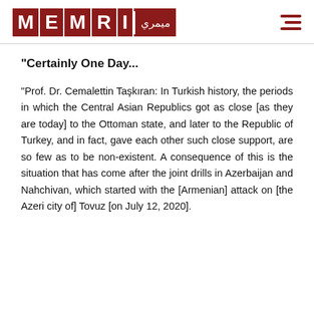[Figure (logo): MEMRI logo in red with Arabic text, and hamburger menu icon]
"Certainly One Day...
"Prof. Dr. Cemalettin Taşkıran: In Turkish history, the periods in which the Central Asian Republics got as close [as they are today] to the Ottoman state, and later to the Republic of Turkey, and in fact, gave each other such close support, are so few as to be non-existent. A consequence of this is the situation that has come after the joint drills in Azerbaijan and Nahchivan, which started with the [Armenian] attack on [the Azeri city of] Tovuz [on July 12, 2020].